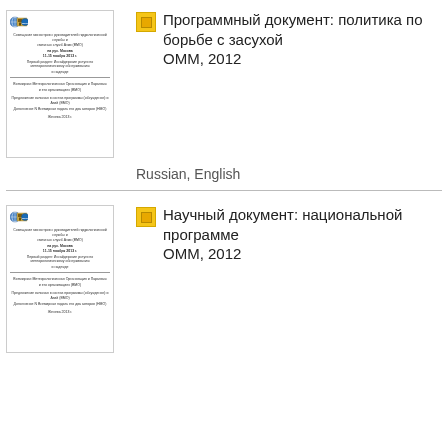[Figure (other): Document thumbnail with UN/FAO/WHO logos and small text]
Программный документ: политика по борьбе с засухой ОММ, 2012
Russian, English
[Figure (other): Document thumbnail with UN/FAO/WHO logos and small text]
Научный документ: национальной программе ОММ, 2012